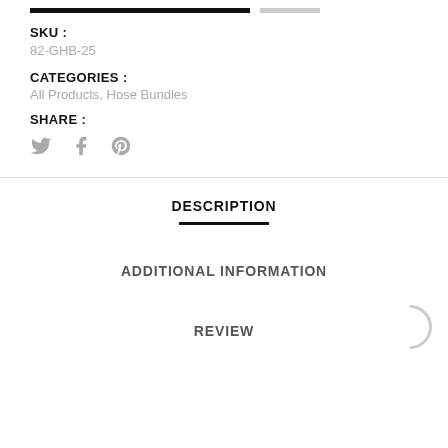SKU :
82-GHB-25
CATEGORIES :
All Products, Hose Bundles
SHARE :
[Figure (illustration): Social share icons: Twitter bird, Facebook f, Pinterest p]
DESCRIPTION
ADDITIONAL INFORMATION
REVIEW